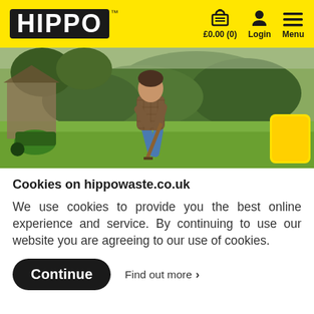HIPPO™   £0.00 (0)   Login   Menu
[Figure (photo): Person working in a garden, bending over with a tool, green hedge and wooden shed in background, yellow hippo bag visible on right side]
Cookies on hippowaste.co.uk
We use cookies to provide you the best online experience and service. By continuing to use our website you are agreeing to our use of cookies.
Continue   Find out more >